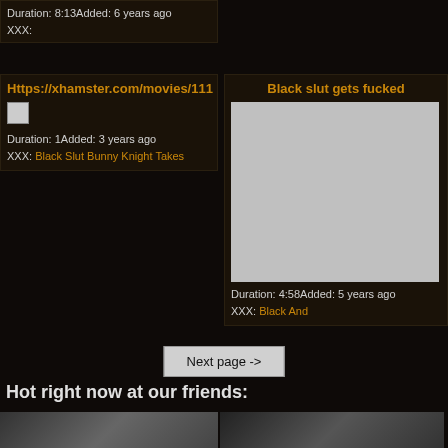Duration: 8:13Added: 6 years ago
XXX:
Https://xhamster.com/movies/111
[Figure (photo): Small broken image thumbnail placeholder]
Duration: 1Added: 3 years ago
XXX: Black Slut Bunny Knight Takes
Black slut gets fucked
[Figure (photo): Large gray placeholder image for video thumbnail]
Duration: 4:58Added: 5 years ago
XXX: Black And
Next page ->
Hot right now at our friends:
[Figure (photo): Friend site thumbnail image bottom left]
[Figure (photo): Friend site thumbnail image bottom right]